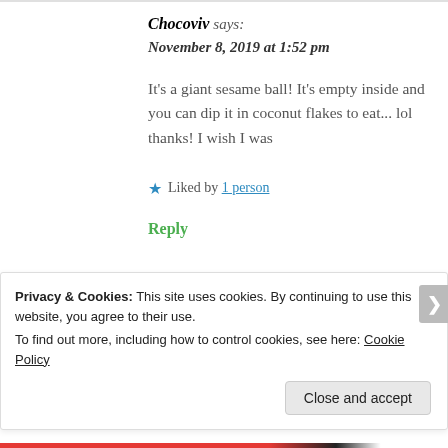Chocoviv says:
November 8, 2019 at 1:52 pm
It's a giant sesame ball! It's empty inside and you can dip it in coconut flakes to eat... lol thanks! I wish I was
★ Liked by 1 person
Reply
Privacy & Cookies: This site uses cookies. By continuing to use this website, you agree to their use.
To find out more, including how to control cookies, see here: Cookie Policy
Close and accept